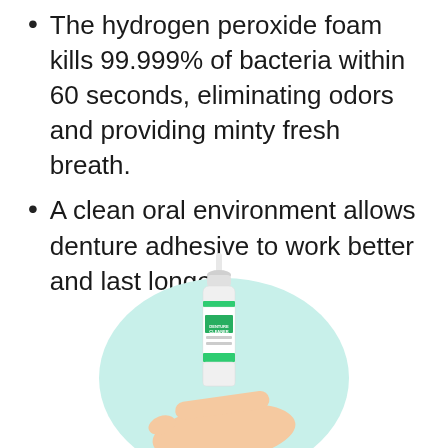The hydrogen peroxide foam kills 99.999% of bacteria within 60 seconds, eliminating odors and providing minty fresh breath.
A clean oral environment allows denture adhesive to work better and last longer.
[Figure (photo): A hand holding a white foam pump bottle labeled 'DENTURE CLEANER', displayed against a light mint/teal circular background.]